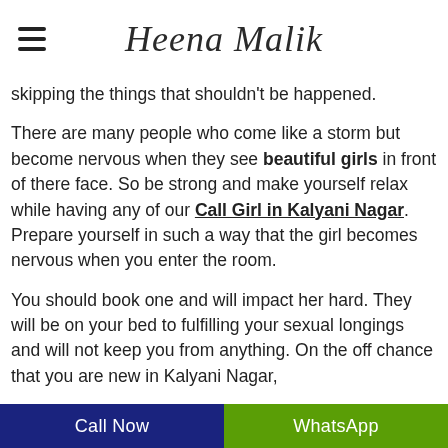Heena Malik
skipping the things that shouldn't be happened.
There are many people who come like a storm but become nervous when they see beautiful girls in front of there face. So be strong and make yourself relax while having any of our Call Girl in Kalyani Nagar. Prepare yourself in such a way that the girl becomes nervous when you enter the room.
You should book one and will impact her hard. They will be on your bed to fulfilling your sexual longings and will not keep you from anything. On the off chance that you are new in Kalyani Nagar,
Call Now | WhatsApp